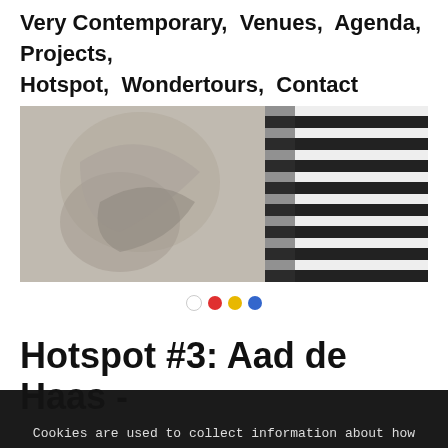Very Contemporary,  Venues,  Agenda,  Projects,  Hotspot,  Wondertours,  Contact
[Figure (photo): A slideshow banner image showing two panels: left panel with a grayscale artistic/sketch image of hands, right panel with a person wearing a black-and-white striped shirt. Carousel navigation dots visible below: white, red, yellow, blue.]
Hotspot #3: Aad de Haas -
Cookies are used to collect information about how you use verycontemporary.org. We use this information to make the website work as well as possible. For more information on how we use cookies, please read our Privacy Policy.
the artist, ↗ the SCHUNCK Museum in Heerlen (NL), ↗ the Limburgs Museum in Venlo (NL), the